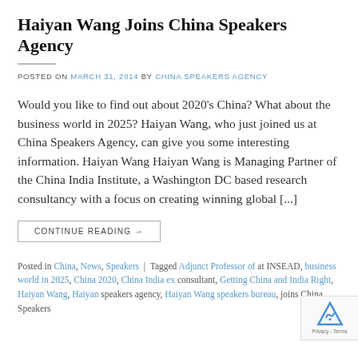Haiyan Wang Joins China Speakers Agency
POSTED ON MARCH 31, 2014 BY CHINA SPEAKERS AGENCY
Would you like to find out about 2020's China? What about the business world in 2025? Haiyan Wang, who just joined us at China Speakers Agency, can give you some interesting information. Haiyan Wang Haiyan Wang is Managing Partner of the China India Institute, a Washington DC based research consultancy with a focus on creating winning global [...]
CONTINUE READING →
Posted in China, News, Speakers | Tagged Adjunct Professor of at INSEAD, business world in 2025, China 2020, China India ex consultant, Getting China and India Right, Haiyan Wang, Haiyan speakers agency, Haiyan Wang speakers bureau, joins China Speakers